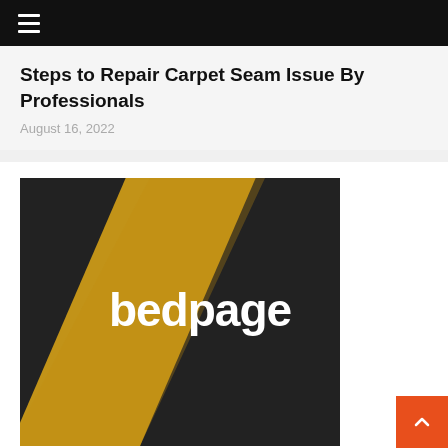≡ (hamburger menu)
Steps to Repair Carpet Seam Issue By Professionals
August 16, 2022
[Figure (logo): Bedpage logo: dark background with a diagonal yellow/gold stripe from bottom-left to top-right, and the text 'bedpage' in white bold font on the right side]